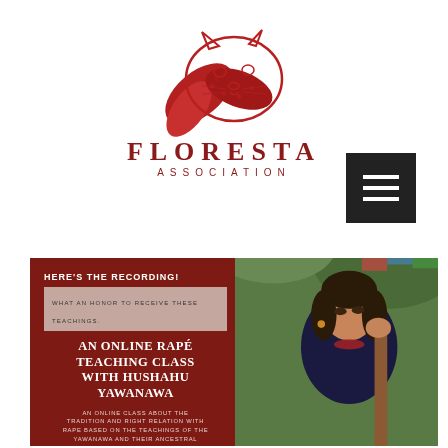[Figure (logo): Floresta Association logo: red/crimson illustration of a jaguar face overlaid with tropical leaves, with text FLORESTA ASSOCIATION below in dark red serif and spaced sans-serif lettering]
[Figure (other): Black hamburger/menu icon button (three horizontal white lines on black square background), positioned upper right]
[Figure (photo): Dark red banner/card. Left side: text 'HERE'S THE RECORDING!' in white bold, then a tan box with 'WHAT AN HONOR TO RECEIVE THESE TEACHINGS.' then large white serif title 'AN ONLINE RAPÉ TEACHING CLASS WITH HUSHAHU YAWANAWA' and smaller text 'AN ONLINE CLASS ABOUT THE TRADITION AND RIGHT RELATION WITH RAPE BASED ON THE TEACHINGS OF THE YAWANAWA AND THEIR ANCESTRAL WISDOM.' Right side: photo of Indigenous woman holding a wooden pole/instrument.]